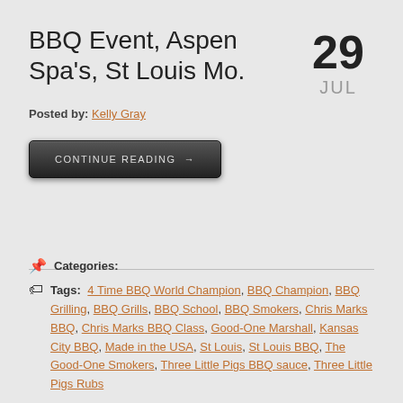BBQ Event, Aspen Spa's, St Louis Mo.
29 JUL
Posted by: Kelly Gray
CONTINUE READING →
📌 Categories:
🏷 Tags: 4 Time BBQ World Champion, BBQ Champion, BBQ Grilling, BBQ Grills, BBQ School, BBQ Smokers, Chris Marks BBQ, Chris Marks BBQ Class, Good-One Marshall, Kansas City BBQ, Made in the USA, St Louis, St Louis BBQ, The Good-One Smokers, Three Little Pigs BBQ sauce, Three Little Pigs Rubs